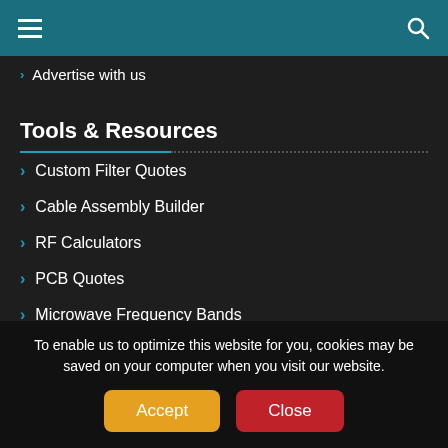Advertise with us
Tools & Resources
Custom Filter Quotes
Cable Assembly Builder
RF Calculators
PCB Quotes
Microwave Frequency Bands
5G Frequency Bands
LTE Frequency Bands
To enable us to optimize this website for you, cookies may be saved on your computer when you visit our website.